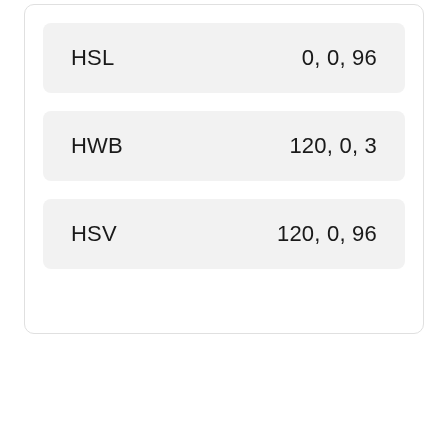| Color Space | Values |
| --- | --- |
| HSL | 0, 0, 96 |
| HWB | 120, 0, 3 |
| HSV | 120, 0, 96 |